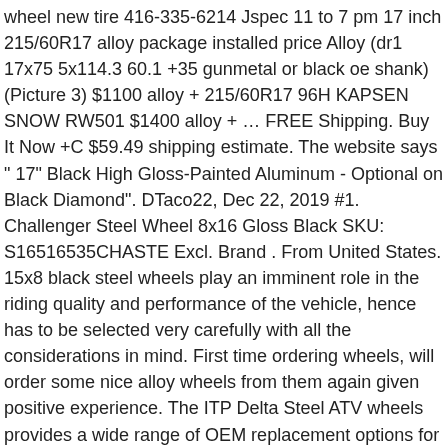wheel new tire 416-335-6214 Jspec 11 to 7 pm 17 inch 215/60R17 alloy package installed price Alloy (dr1 17x75 5x114.3 60.1 +35 gunmetal or black oe shank) (Picture 3) $1100 alloy + 215/60R17 96H KAPSEN SNOW RW501 $1400 alloy + … FREE Shipping. Buy It Now +C $59.49 shipping estimate. The website says " 17" Black High Gloss-Painted Aluminum - Optional on Black Diamond". DTaco22, Dec 22, 2019 #1. Challenger Steel Wheel 8x16 Gloss Black SKU: S16516535CHASTE Excl. Brand . From United States. 15x8 black steel wheels play an imminent role in the riding quality and performance of the vehicle, hence has to be selected very carefully with all the considerations in mind. First time ordering wheels, will order some nice alloy wheels from them again given positive experience. The ITP Delta Steel ATV wheels provides a wide range of OEM replacement options for all popular models in the utility 4x4 category. Add to Compare List; Items 1 to 24 of 107 total . Steel wheels are a cost effective and popular option for consumers looking for off-road capability or winter use. We hear you loud and